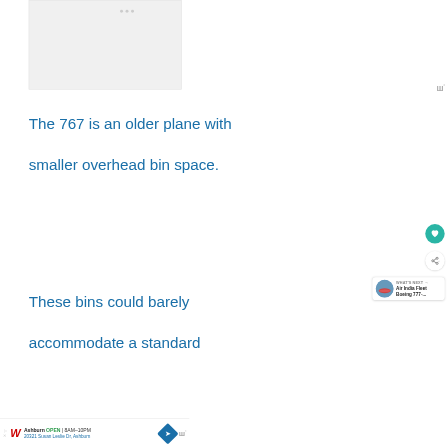[Figure (screenshot): Top advertisement banner area, light gray background]
The 767 is an older plane with smaller overhead bin space.
[Figure (screenshot): Heart/like button (teal circle) and share button (white circle with share icon), and 'WHAT'S NEXT' card showing Air India Fleet Boeing 777-...]
These bins could barely accommodate a standard
[Figure (screenshot): Bottom advertisement bar: Walgreens logo, Ashburn OPEN 8AM-10PM, 20321 Susan Leslie Dr, Ashburn, navigation diamond icon, Waze wordmark]